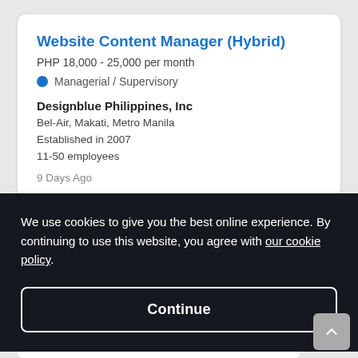Website Content Manager (Hybrid)
PHP 18,000 - 25,000 per month
Managerial / Supervisory
Designblue Philippines, Inc
Bel-Air, Makati, Metro Manila
Established in 2007
11-50 employees
9 Days Ago
We use cookies to give you the best online experience. By continuing to use this website, you agree with our cookie policy.
Continue
3rd Floor, Glorietta 2
Established in 2015
51-200 employees
9 Days Ago